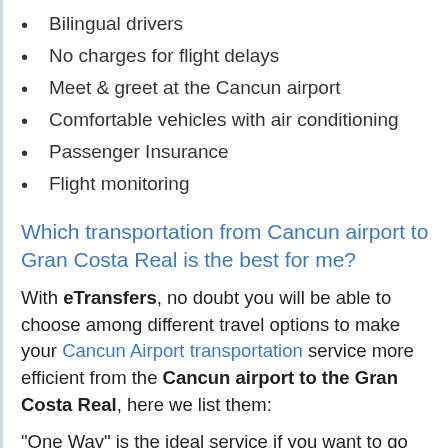Bilingual drivers
No charges for flight delays
Meet & greet at the Cancun airport
Comfortable vehicles with air conditioning
Passenger Insurance
Flight monitoring
Which transportation from Cancun airport to Gran Costa Real is the best for me?
With eTransfers, no doubt you will be able to choose among different travel options to make your Cancun Airport transportation service more efficient from the Cancun airport to the Gran Costa Real, here we list them:
"One Way" is the ideal service if you want to go from one place to another directly and without stopping.
"Round trip", a round trip service if you wish to acquire